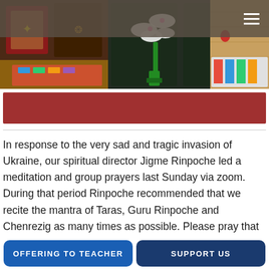[Figure (photo): Photo strip showing Buddhist shrine room with colorful decorations, orchid flowers, and wooden floor with rug]
≡ (hamburger menu icon)
[Figure (other): Red horizontal bar/banner]
In response to the very sad and tragic invasion of Ukraine, our spiritual director Jigme Rinpoche led a meditation and group prayers last Sunday via zoom. During that period Rinpoche recommended that we recite the mantra of Taras, Guru Rinpoche and Chenrezig as many times as possible. Please pray that may this terrible situation be resolved swiftly, and that lasti... ay.
OFFERING TO TEACHER
SUPPORT US